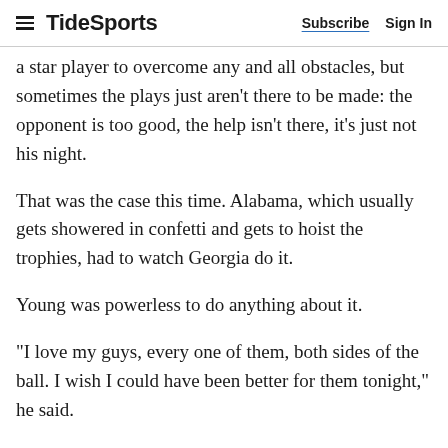TideSports | Subscribe  Sign In
a star player to overcome any and all obstacles, but sometimes the plays just aren't there to be made: the opponent is too good, the help isn't there, it's just not his night.
That was the case this time. Alabama, which usually gets showered in confetti and gets to hoist the trophies, had to watch Georgia do it.
Young was powerless to do anything about it.
"I love my guys, every one of them, both sides of the ball. I wish I could have been better for them tonight," he said.
Tommy Deas is Alabama sports editor for the